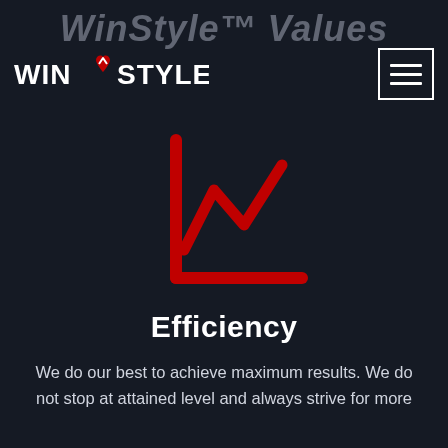WinStyle™ Values
[Figure (logo): WIN VS STYLE logo with red heart/arrow icon]
[Figure (illustration): Red line chart icon showing upward trend with L-shaped axis]
Efficiency
We do our best to achieve maximum results. We do not stop at attained level and always strive for more